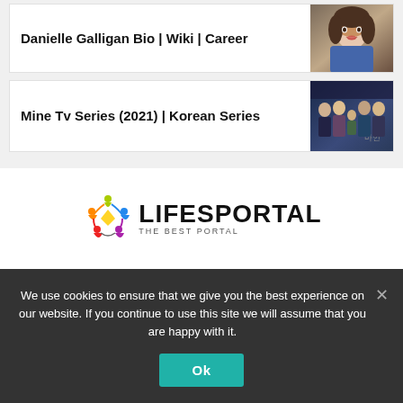Danielle Galligan Bio | Wiki | Career
[Figure (photo): Photo of Danielle Galligan, a young woman outdoors]
Mine Tv Series (2021) | Korean Series
[Figure (photo): Promotional photo for Mine Korean TV Series (2021), group of people in formal attire]
[Figure (logo): Lifesportal logo - colorful human figures icon with text LIFESPORTAL THE BEST PORTAL]
We use cookies to ensure that we give you the best experience on our website. If you continue to use this site we will assume that you are happy with it.